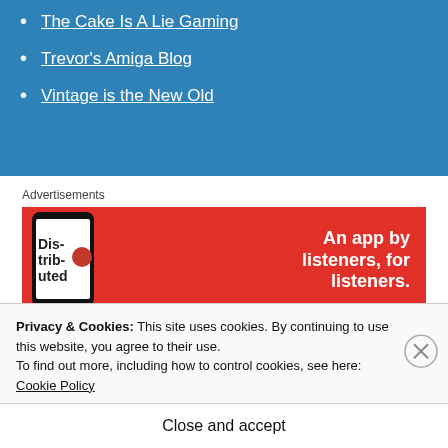The Cake Is A Lie Gaming
Trevor's Amiga Blog
Vintage is the New Old
Advertisements
[Figure (photo): Red advertisement banner for a podcast/audio app showing a phone with 'Distributed' text and slogan 'An app by listeners, for listeners.']
Privacy & Cookies: This site uses cookies. By continuing to use this website, you agree to their use.
To find out more, including how to control cookies, see here: Cookie Policy
Close and accept